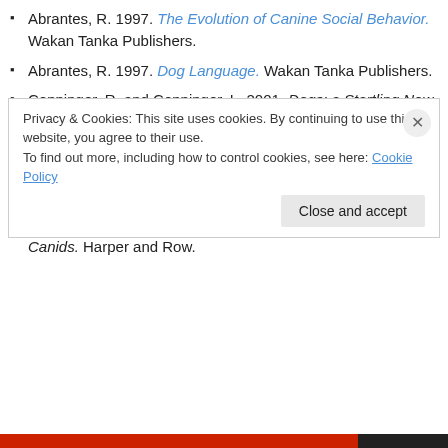Abrantes, R. 1997. The Evolution of Canine Social Behavior. Wakan Tanka Publishers.
Abrantes, R. 1997. Dog Language. Wakan Tanka Publishers.
Coppinger, R. and Coppinger, L. 2001. Dogs: a Startling New Understanding of Canine Origin, Behavior and Evolution. Scribner.
Darwin, C. 1872. The Expressions of the Emotions in Man and Animals. John Murray (the original edition).
Fox, M. 1972. Behaviour of Wolves, Dogs, and Related Canids. Harper and Row.
Privacy & Cookies: This site uses cookies. By continuing to use this website, you agree to their use. To find out more, including how to control cookies, see here: Cookie Policy